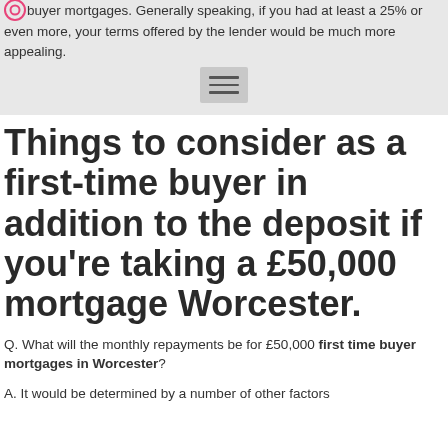may be able to get a better rate of interest for your first time buyer mortgages. Generally speaking, if you had at least a 25% or even more, your terms offered by the lender would be much more appealing.
Things to consider as a first-time buyer in addition to the deposit if you're taking a £50,000 mortgage Worcester.
Q. What will the monthly repayments be for £50,000 first time buyer mortgages in Worcester?
A. It would be determined by a number of other factors